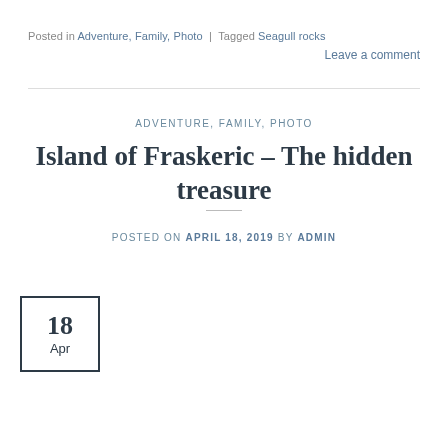Posted in Adventure, Family, Photo | Tagged Seagull rocks
Leave a comment
ADVENTURE, FAMILY, PHOTO
Island of Fraskeric – The hidden treasure
POSTED ON APRIL 18, 2019 BY ADMIN
[Figure (other): Date box showing 18 Apr]